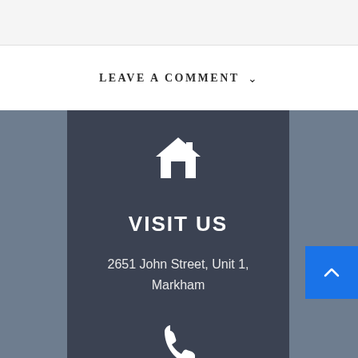LEAVE A COMMENT
[Figure (illustration): White house/home icon on dark background]
VISIT US
2651 John Street, Unit 1, Markham
[Figure (illustration): White telephone/phone icon on dark background]
[Figure (illustration): Blue scroll-to-top button with upward chevron arrow]